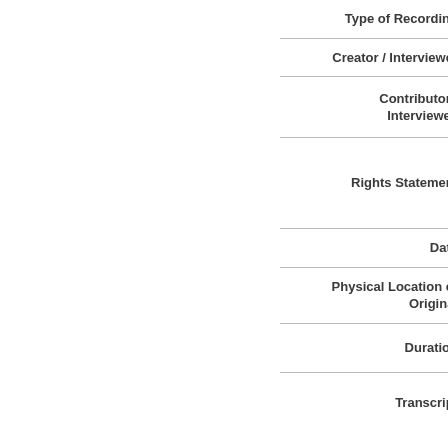| Field | Value |
| --- | --- |
| Type of Recording |  |
| Creator / Interviewer |  |
| Contributor / Interviewee |  |
| Rights Statement |  |
| Date |  |
| Physical Location of Original |  |
| Duration |  |
| Transcript |  |